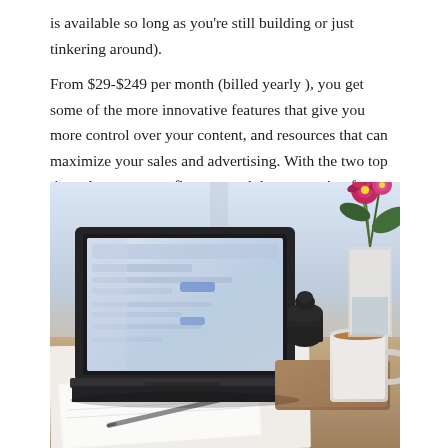is available so long as you're still building or just tinkering around).

From $29-$249 per month (billed yearly ), you get some of the more innovative features that give you more control over your content, and resources that can maximize your sales and advertising. With the two top tiers, the rates are a flat rate, and the transaction fees are waived.
[Figure (photo): A laptop computer open on a desk near a large window, with a white mug, dark bottle, and vase of pink flowers on a wooden tray to the right. A notebook and pen rest in the foreground.]